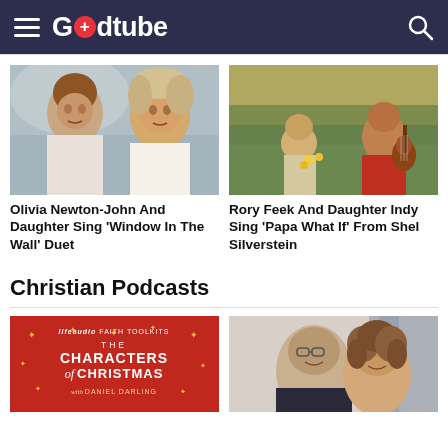Godtube
[Figure (photo): Two women singing together outdoors, looking upward]
Olivia Newton-John And Daughter Sing 'Window In The Wall' Duet
[Figure (photo): Man playing guitar on a porch/deck with a child and flowers, outdoor countryside scene at golden hour]
Rory Feek And Daughter Indy Sing 'Papa What If' From Shel Silverstein
Christian Podcasts
[Figure (other): Red podcast cover art: lifeaudio Faith Toolkits - The Characters of Christmas with Daniel Darling]
[Figure (photo): A man and woman smiling, couple portrait against light background with blue/grey accents]